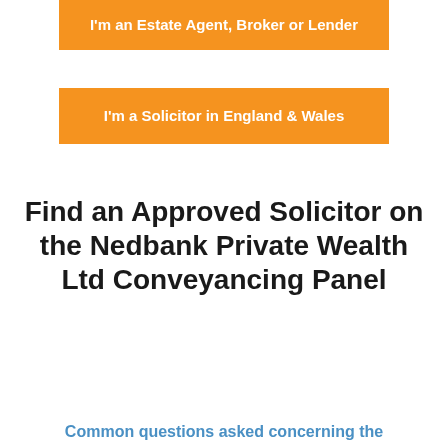[Figure (other): Orange button with text 'I'm an Estate Agent, Broker or Lender' in white bold text]
[Figure (other): Orange button with text 'I'm a Solicitor in England & Wales' in white bold text]
Find an Approved Solicitor on the Nedbank Private Wealth Ltd Conveyancing Panel
Common questions asked concerning the